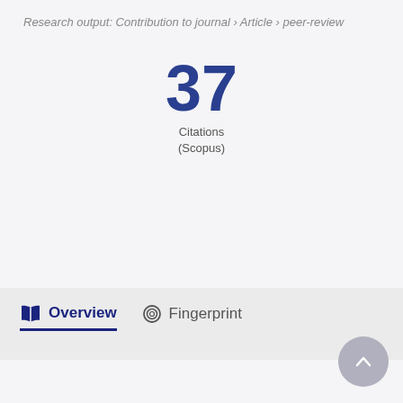Research output: Contribution to journal › Article › peer-review
37 Citations (Scopus)
Overview   Fingerprint